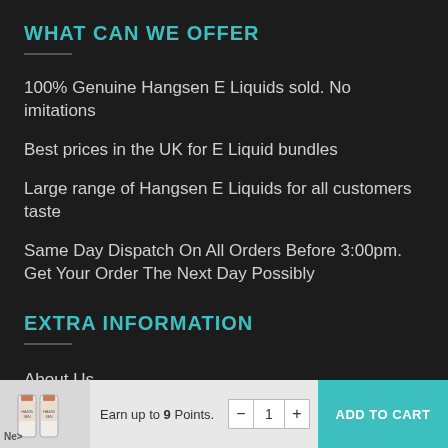WHAT CAN WE OFFER
100% Genuine Hangsen E Liquids sold. No imitations
Best prices in the UK for E Liquid bundles
Large range of Hangsen E Liquids for all customers taste
Same Day Dispatch On All Orders Before 3:00pm. Get Your Order The Next Day Possibly
EXTRA INFORMATION
About Us
Earn up to 9 Points.
ADD TO CART